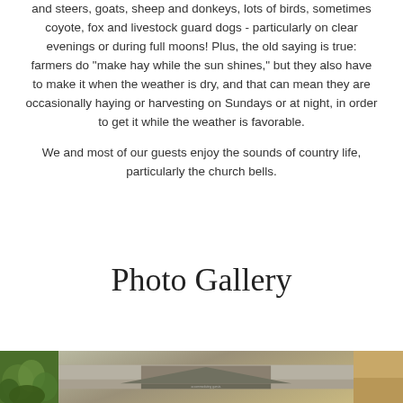and steers, goats, sheep and donkeys, lots of birds, sometimes coyote, fox and livestock guard dogs - particularly on clear evenings or during full moons! Plus, the old saying is true: farmers do "make hay while the sun shines," but they also have to make it when the weather is dry, and that can mean they are occasionally haying or harvesting on Sundays or at night, in order to get it while the weather is favorable.
We and most of our guests enjoy the sounds of country life, particularly the church bells.
Photo Gallery
[Figure (photo): Row of three photos at bottom of page: green foliage on left, large barn/building roof in center, tan/warm toned image on right]